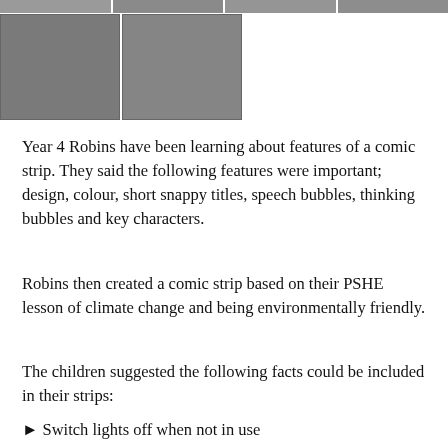[Figure (photo): Top strip of classroom/student photos partially visible at top of page]
[Figure (photo): Two photos of students working on tablets/computers in a classroom setting]
Year 4 Robins have been learning about features of a comic strip. They said the following features were important; design, colour, short snappy titles, speech bubbles, thinking bubbles and key characters.
Robins then created a comic strip based on their PSHE lesson of climate change and being environmentally friendly.
The children suggested the following facts could be included in their strips:
► Switch lights off when not in use